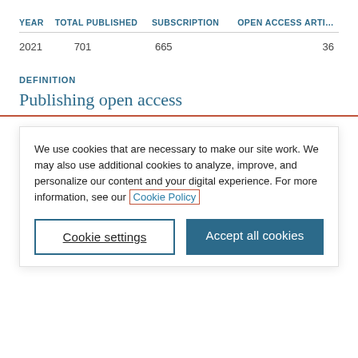| YEAR | TOTAL PUBLISHED | SUBSCRIPTION | OPEN ACCESS ARTI... |
| --- | --- | --- | --- |
| 2021 | 701 | 665 | 36 |
DEFINITION
Publishing open access
We use cookies that are necessary to make our site work. We may also use additional cookies to analyze, improve, and personalize our content and your digital experience. For more information, see our Cookie Policy
Cookie settings
Accept all cookies